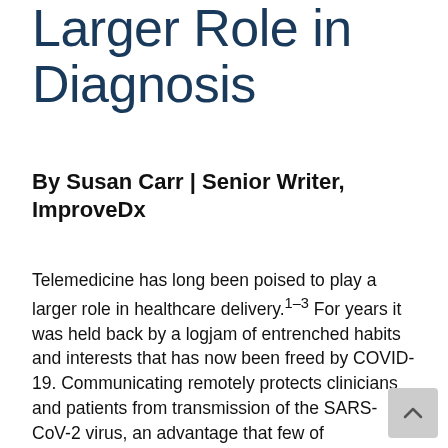Larger Role in Diagnosis
By Susan Carr | Senior Writer, ImproveDx
Telemedicine has long been poised to play a larger role in healthcare delivery.1-3 For years it was held back by a logjam of entrenched habits and interests that has now been freed by COVID-19. Communicating remotely protects clinicians and patients from transmission of the SARS-CoV-2 virus, an advantage that few of telemedicine's advocates saw coming. Writing in April, U.S. health care system was contending with COVID-19, physicians at Stanford observed that our analog, face-to-face system is not only "ill equipped to cope with this swiftly emerging epidemic,"3(p1) it also